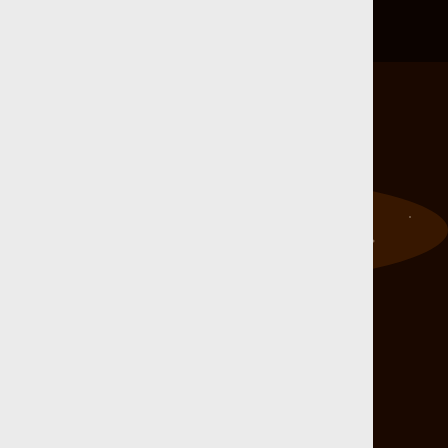[Figure (screenshot): Video thumbnail showing 'Magnetic D...' title with a glowing particle/comet trail on dark background, with a circular colorful logo icon in top-left of thumbnail]
This video shows the deflection of charged particles in a magn...
Direct link to the .mp4 fi...
Opti...
[Figure (screenshot): Video thumbnail showing 'Optics 1: Re...' title with a physics lab setup showing optical equipment on a table, with a circular colorful logo icon in top-left of thumbnail]